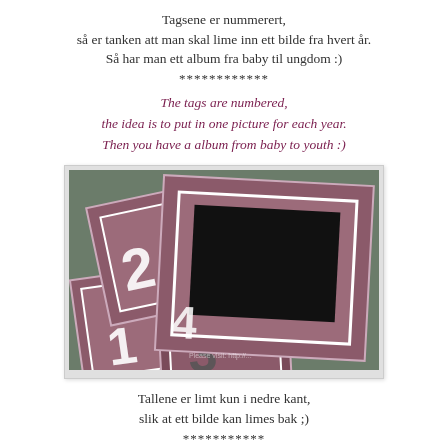Tagsene er nummerert,
så er tanken att man skal lime inn ett bilde fra hvert år.
Så har man ett album fra baby til ungdom :)
************
The tags are numbered,
the idea is to put in one picture for each year.
Then you have a album from baby to youth :)
[Figure (photo): Photo of several numbered scrapbook tags/frames stacked together, showing numbers 1, 2, 3, 4. The tags are reddish-brown/mauve colored with white number stickers and have black photo holder areas.]
Tallene er limt kun i nedre kant,
slik at ett bilde kan limes bak ;)
************
The numbers are glued only at the bottom,